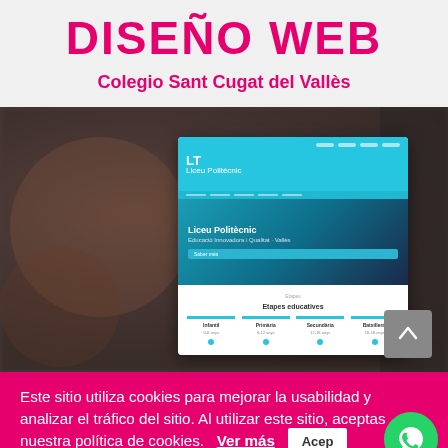DISEÑO WEB
Colegio Sant Cugat del Vallès
[Figure (screenshot): Screenshot of a school website (Liceu Politècnic) shown overlaid on a blurred classroom background photo. The website shows a cyan/blue navigation bar, a hero section with the school name, and a cards section showing etapas educativas.]
Este sitio utiliza cookies para mejorar la usabilidad y analizar el tráfico del sitio. Al utilizar este sitio, aceptas nuestra política de cookies.
Ver más
Acep